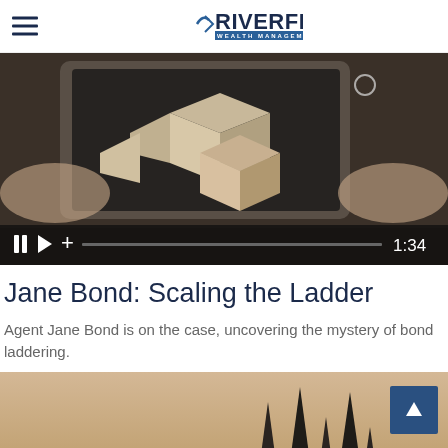RIVERFRONT WEALTH MANAGEMENT
[Figure (screenshot): Video player showing hands holding a tablet with 3D wooden block puzzle pieces. Controls show pause, play, plus icon, progress bar, and timestamp 1:34]
Jane Bond: Scaling the Ladder
Agent Jane Bond is on the case, uncovering the mystery of bond laddering.
[Figure (photo): Partial bottom thumbnail image showing dark silhouettes against a warm gradient sky background]